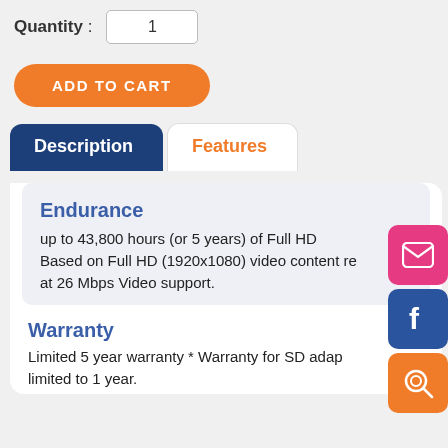Quantity : 1
ADD TO CART
Description
Features
Endurance
up to 43,800 hours (or 5 years) of Full HD. Based on Full HD (1920x1080) video content re at 26 Mbps Video support.
Warranty
Limited 5 year warranty * Warranty for SD adap limited to 1 year.